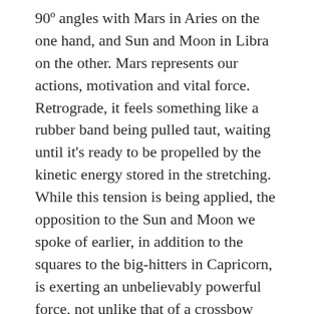90° angles with Mars in Aries on the one hand, and Sun and Moon in Libra on the other. Mars represents our actions, motivation and vital force. Retrograde, it feels something like a rubber band being pulled taut, waiting until it's ready to be propelled by the kinetic energy stored in the stretching. While this tension is being applied, the opposition to the Sun and Moon we spoke of earlier, in addition to the squares to the big-hitters in Capricorn, is exerting an unbelievably powerful force, not unlike that of a crossbow being cocked. When that arrow is let loose, you do NOT want to find yourself on its path!

In practical terms, what does this